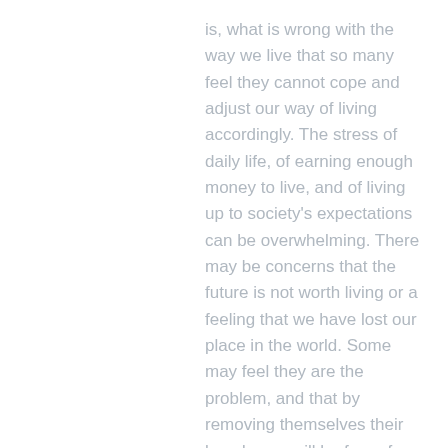is, what is wrong with the way we live that so many feel they cannot cope and adjust our way of living accordingly. The stress of daily life, of earning enough money to live, and of living up to society's expectations can be overwhelming. There may be concerns that the future is not worth living or a feeling that we have lost our place in the world. Some may feel they are the problem, and that by removing themselves their loved ones will be free of them and ‘better off’. It’s not true.
Perhaps take a step back if you are feeling like this, put in place time to look after your wellbeing and your